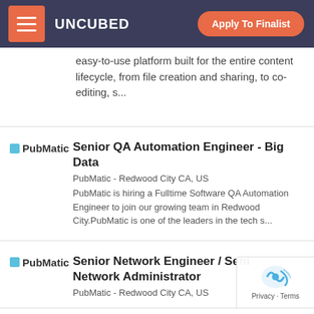UNCUBED | Apply To Finalist
easy-to-use platform built for the entire content lifecycle, from file creation and sharing, to co-editing, s...
Senior QA Automation Engineer - Big Data
PubMatic - Redwood City CA, US
PubMatic is hiring a Fulltime Software QA Automation Engineer to join our growing team in Redwood City.PubMatic is one of the leaders in the tech s...
Senior Network Engineer / Senior Network Administrator
PubMatic - Redwood City CA, US